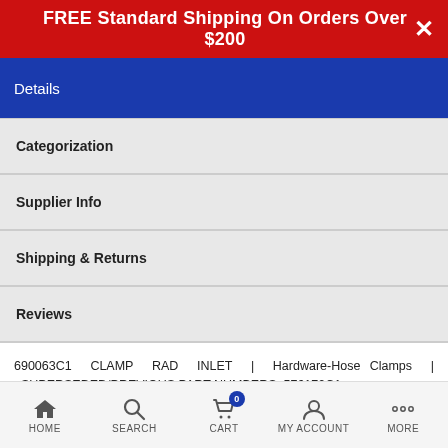FREE Standard Shipping On Orders Over $200
Details
Categorization
Supplier Info
Shipping & Returns
Reviews
690063C1 CLAMP RAD INLET | Hardware-Hose Clamps | SUPERSEDED/PREVIOUS PART NUMBERS: 576170C1
Categorization: 26G HOSE CLAMPS | D0628 | HM602 HOSE CLAMPS | 645 HARDWARE, FASTENERS, MISC | SEATS & CHEMICALS | Trailer, Tools and Hardware | Hardware
HOME  SEARCH  CART  MY ACCOUNT  MORE